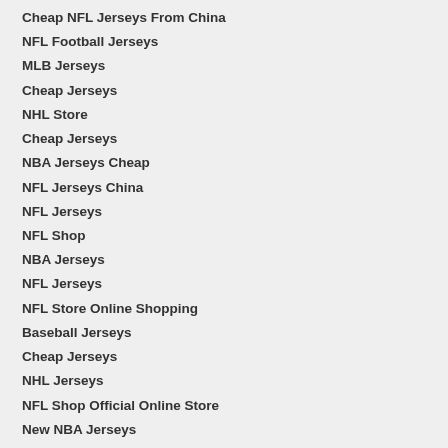Cheap NFL Jerseys From China
NFL Football Jerseys
MLB Jerseys
Cheap Jerseys
NHL Store
Cheap Jerseys
NBA Jerseys Cheap
NFL Jerseys China
NFL Jerseys
NFL Shop
NBA Jerseys
NFL Jerseys
NFL Store Online Shopping
Baseball Jerseys
Cheap Jerseys
NHL Jerseys
NFL Shop Official Online Store
New NBA Jerseys
Cheap NHL Jerseys
NFL Jerseys
NFL Team Shop
MLB Shop
NHL Jerseys Wholesale